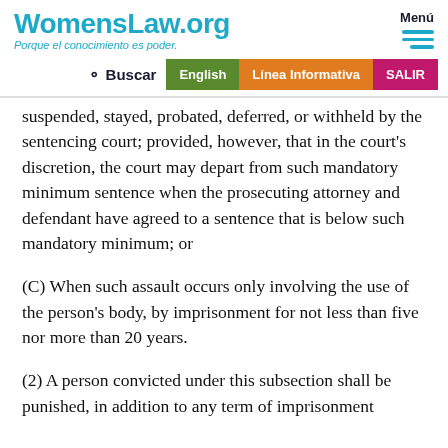WomensLaw.org — Porque el conocimiento es poder. | Menu | Buscar | English | Línea Informativa | SALIR
suspended, stayed, probated, deferred, or withheld by the sentencing court; provided, however, that in the court's discretion, the court may depart from such mandatory minimum sentence when the prosecuting attorney and defendant have agreed to a sentence that is below such mandatory minimum; or
(C) When such assault occurs only involving the use of the person's body, by imprisonment for not less than five nor more than 20 years.
(2) A person convicted under this subsection shall be punished, in addition to any term of imprisonment imposed, by a fine, provided, that which shall be...